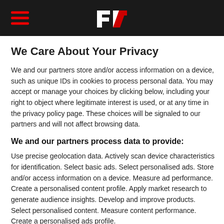F1.com navigation header with hamburger menu and F1 logo
We Care About Your Privacy
We and our partners store and/or access information on a device, such as unique IDs in cookies to process personal data. You may accept or manage your choices by clicking below, including your right to object where legitimate interest is used, or at any time in the privacy policy page. These choices will be signaled to our partners and will not affect browsing data.
We and our partners process data to provide:
Use precise geolocation data. Actively scan device characteristics for identification. Select basic ads. Select personalised ads. Store and/or access information on a device. Measure ad performance. Create a personalised content profile. Apply market research to generate audience insights. Develop and improve products. Select personalised content. Measure content performance. Create a personalised ads profile.
List of Partners (vendors)